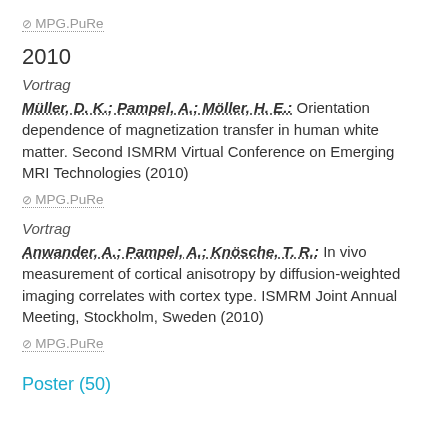MPG.PuRe
2010
Vortrag
Müller, D. K.; Pampel, A.; Möller, H. E.: Orientation dependence of magnetization transfer in human white matter. Second ISMRM Virtual Conference on Emerging MRI Technologies (2010)
MPG.PuRe
Vortrag
Anwander, A.; Pampel, A.; Knösche, T. R.: In vivo measurement of cortical anisotropy by diffusion-weighted imaging correlates with cortex type. ISMRM Joint Annual Meeting, Stockholm, Sweden (2010)
MPG.PuRe
Poster (50)